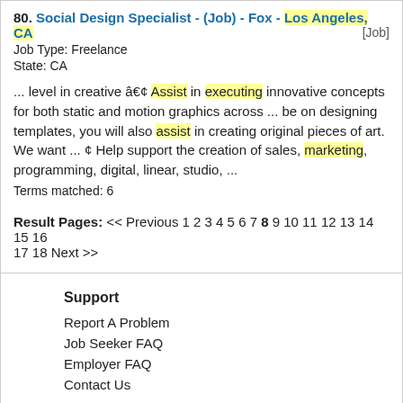80. Social Design Specialist - (Job) - Fox - Los Angeles, CA [Job]
Job Type: Freelance
State: CA
... level in creative â€¢ Assist in executing innovative concepts for both static and motion graphics across ... be on designing templates, you will also assist in creating original pieces of art. We want ... ¢ Help support the creation of sales, marketing, programming, digital, linear, studio, ...
Terms matched: 6
Result Pages: << Previous 1 2 3 4 5 6 7 8 9 10 11 12 13 14 15 16 17 18 Next >>
Support
Report A Problem
Job Seeker FAQ
Employer FAQ
Contact Us
Employer
Post A Job
Employer FAQ